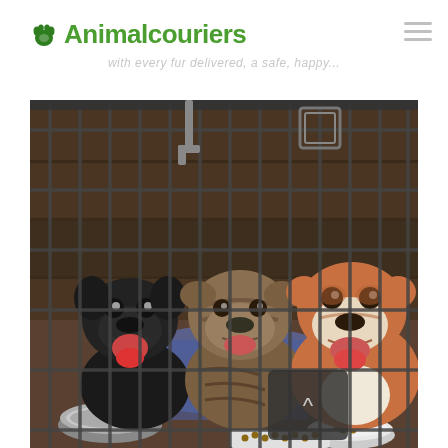Animalcouriers
with every fur delivered, a safe, happy...
[Figure (photo): Three bulldogs (a black French Bulldog, a brindle English Bulldog, and a brown-and-white English Bulldog) inside a metal wire crate/cage with food bowls and blue blankets]